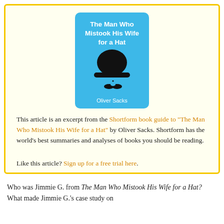[Figure (illustration): Book cover of 'The Man Who Mistook His Wife for a Hat' by Oliver Sacks. Blue rounded-rectangle cover with white bold title text at top, black bowler hat silhouette in the middle, small black lips/mustache below, and 'Oliver Sacks' in white text near the bottom.]
This article is an excerpt from the Shortform book guide to "The Man Who Mistook His Wife for a Hat" by Oliver Sacks. Shortform has the world's best summaries and analyses of books you should be reading.
Like this article? Sign up for a free trial here.
Who was Jimmie G. from The Man Who Mistook His Wife for a Hat? What made Jimmie G.'s case study on